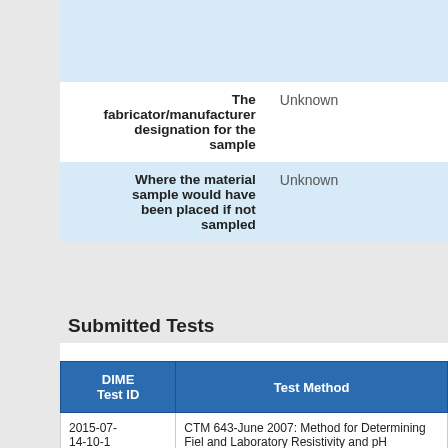| Field | Value |
| --- | --- |
|  |  |
| The fabricator/manufacturer designation for the sample | Unknown |
| Where the material sample would have been placed if not sampled | Unknown |
Submitted Tests
| DIME Test ID | Test Method |
| --- | --- |
| 2015-07-14-10-1 | CTM 643-June 2007: Method for Determining Field and Laboratory Resistivity and pH Measurements of Soil and Water |